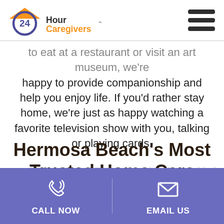[Figure (logo): 24 Hour Caregivers logo with house icon in orange/blue and hamburger menu icon]
to eat at a restaurant or visit an art museum, we're happy to provide companionship and help you enjoy life. If you'd rather stay home, we're just as happy watching a favorite television show with you, talking or playing cards.
Hermosa Beach's Most Trusted Home Care
CALL NOW | EMAIL US